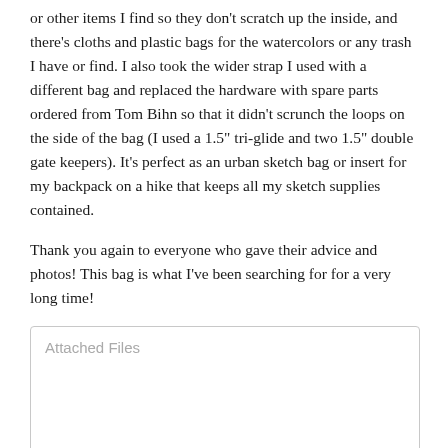or other items I find so they don't scratch up the inside, and there's cloths and plastic bags for the watercolors or any trash I have or find. I also took the wider strap I used with a different bag and replaced the hardware with spare parts ordered from Tom Bihn so that it didn't scrunch the loops on the side of the bag (I used a 1.5" tri-glide and two 1.5" double gate keepers). It's perfect as an urban sketch bag or insert for my backpack on a hike that keeps all my sketch supplies contained.

Thank you again to everyone who gave their advice and photos! This bag is what I've been searching for for a very long time!
[Figure (other): Attached Files box — empty bordered container with 'Attached Files' label in gray]